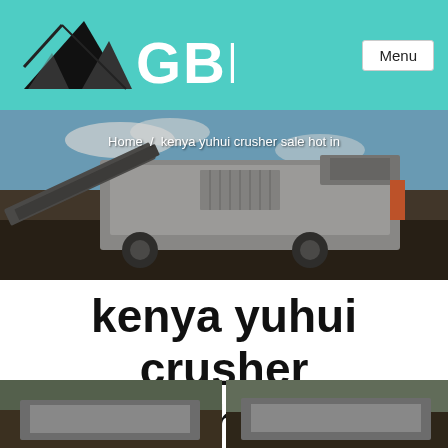GBM — Menu
[Figure (photo): Large mobile crusher/screening machine on a construction/mining site with conveyor belts, surrounded by dark gravel/coal, blue sky in background]
Home / kenya yuhui crusher sale hot in
kenya yuhui crusher sale hot in
[Figure (photo): Two small thumbnail images at the bottom of the page showing crusher/mining equipment]